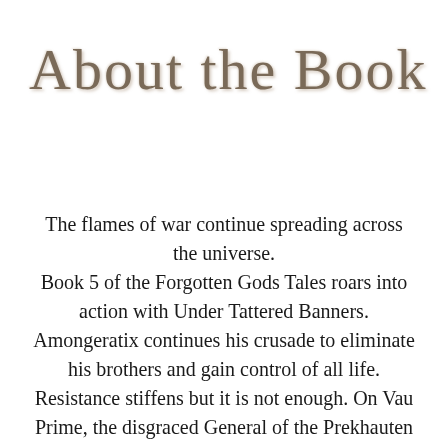About the Book
The flames of war continue spreading across the universe. Book 5 of the Forgotten Gods Tales roars into action with Under Tattered Banners. Amongeratix continues his crusade to eliminate his brothers and gain control of all life. Resistance stiffens but it is not enough. On Vau Prime, the disgraced General of the Prekhauten Guard leads a guerilla war against those in power. It is a losing ploy for the noose tightens with each engagement.